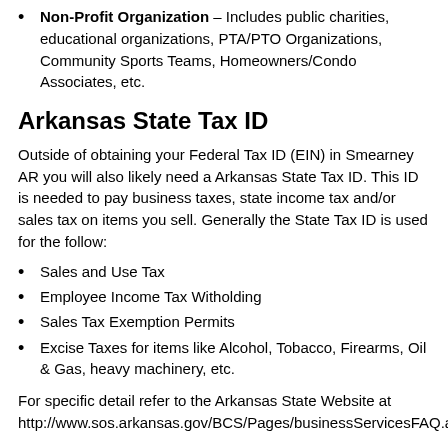Non-Profit Organization – Includes public charities, educational organizations, PTA/PTO Organizations, Community Sports Teams, Homeowners/Condo Associates, etc.
Arkansas State Tax ID
Outside of obtaining your Federal Tax ID (EIN) in Smearney AR you will also likely need a Arkansas State Tax ID. This ID is needed to pay business taxes, state income tax and/or sales tax on items you sell. Generally the State Tax ID is used for the follow:
Sales and Use Tax
Employee Income Tax Witholding
Sales Tax Exemption Permits
Excise Taxes for items like Alcohol, Tobacco, Firearms, Oil & Gas, heavy machinery, etc.
For specific detail refer to the Arkansas State Website at http://www.sos.arkansas.gov/BCS/Pages/businessServicesFAQ.aspx
Cities in Arkansas